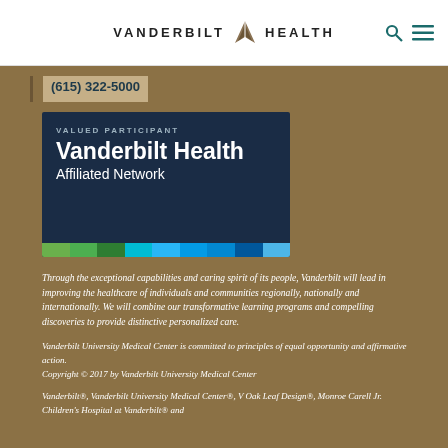VANDERBILT HEALTH
(615) 322-5000
[Figure (logo): Vanderbilt Health Affiliated Network badge — dark navy background with text 'VALUED PARTICIPANT', 'Vanderbilt Health', 'Affiliated Network', and a multicolor stripe at the bottom.]
Through the exceptional capabilities and caring spirit of its people, Vanderbilt will lead in improving the healthcare of individuals and communities regionally, nationally and internationally. We will combine our transformative learning programs and compelling discoveries to provide distinctive personalized care.
Vanderbilt University Medical Center is committed to principles of equal opportunity and affirmative action.
Copyright © 2017 by Vanderbilt University Medical Center
Vanderbilt®, Vanderbilt University Medical Center®, V Oak Leaf Design®, Monroe Carell Jr. Children's Hospital at Vanderbilt® and